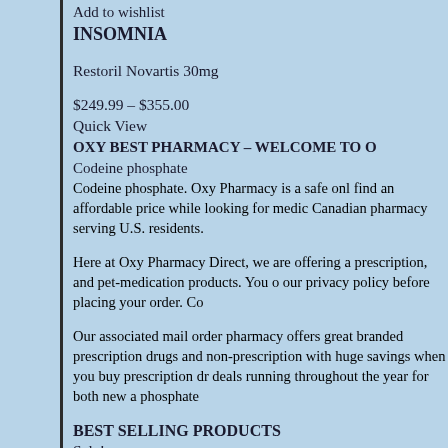Add to wishlist
INSOMNIA
Restoril Novartis 30mg
$249.99 – $355.00
Quick View
OXY BEST PHARMACY – WELCOME TO O
Codeine phosphate
Codeine phosphate. Oxy Pharmacy is a safe onl find an affordable price while looking for medic Canadian pharmacy serving U.S. residents.
Here at Oxy Pharmacy Direct, we are offering a prescription, and pet-medication products. You o our privacy policy before placing your order. Co
Our associated mail order pharmacy offers great branded prescription drugs and non-prescription with huge savings when you buy prescription dr deals running throughout the year for both new a phosphate
BEST SELLING PRODUCTS
Sale!